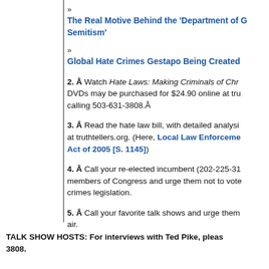» The Real Motive Behind the 'Department of G… Semitism'
» Global Hate Crimes Gestapo Being Created
2. Â Watch Hate Laws: Making Criminals of Chr… DVDs may be purchased for $24.90 online at tru… calling 503-631-3808.Â
3. Â Read the hate law bill, with detailed analysi… at truthtellers.org. (Here, Local Law Enforceme… Act of 2005 [S. 1145])
4. Â Call your re-elected incumbent (202-225-31… members of Congress and urge them not to vote… crimes legislation.
5. Â Call your favorite talk shows and urge them… air.
TALK SHOW HOSTS: For interviews with Ted Pike, pleas… 3808.